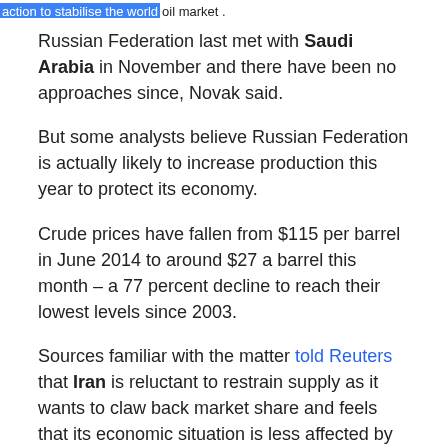action to stabilise the world oil market .
Russian Federation last met with Saudi Arabia in November and there have been no approaches since, Novak said.
But some analysts believe Russian Federation is actually likely to increase production this year to protect its economy.
Crude prices have fallen from $115 per barrel in June 2014 to around $27 a barrel this month – a 77 percent decline to reach their lowest levels since 2003.
Sources familiar with the matter told Reuters that Iran is reluctant to restrain supply as it wants to claw back market share and feels that its economic situation is less affected by the low oil price because of the lifting of sanctions. Anticipation that OPEC and non-OPEC producers could coordinate production cuts has been around all week, and a closing gain on Thursday would be the third in a row.